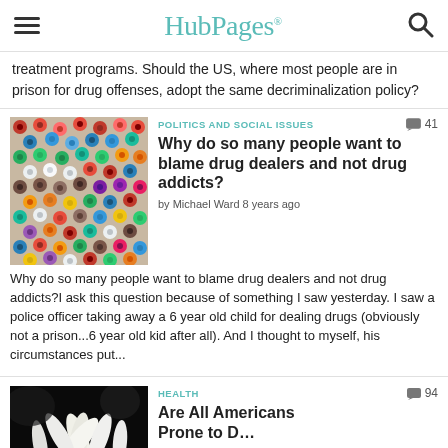HubPages
treatment programs. Should the US, where most people are in prison for drug offenses, adopt the same decriminalization policy?
[Figure (photo): Colorful plastic beads/pellets mixed together in various colors]
POLITICS AND SOCIAL ISSUES
41
Why do so many people want to blame drug dealers and not drug addicts?
by Michael Ward 8 years ago
Why do so many people want to blame drug dealers and not drug addicts?I ask this question because of something I saw yesterday. I saw a police officer taking away a 6 year old child for dealing drugs (obviously not a prison...6 year old kid after all). And I thought to myself, his circumstances put...
[Figure (photo): White flower petals on dark background]
HEALTH
94
Are All Americans Prone to D...